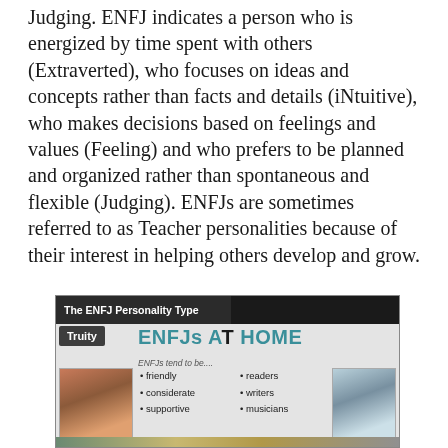Judging. ENFJ indicates a person who is energized by time spent with others (Extraverted), who focuses on ideas and concepts rather than facts and details (iNtuitive), who makes decisions based on feelings and values (Feeling) and who prefers to be planned and organized rather than spontaneous and flexible (Judging). ENFJs are sometimes referred to as Teacher personalities because of their interest in helping others develop and grow.
[Figure (infographic): Infographic titled 'The ENFJ Personality Type' showing 'ENFJs AT HOME'. Labeled from Truity. Subtitle reads 'ENFJs tend to be....' with bullet points listing: friendly, considerate, supportive, readers, writers, musicians. Photos of people on left and right sides. Bottom color strip.]